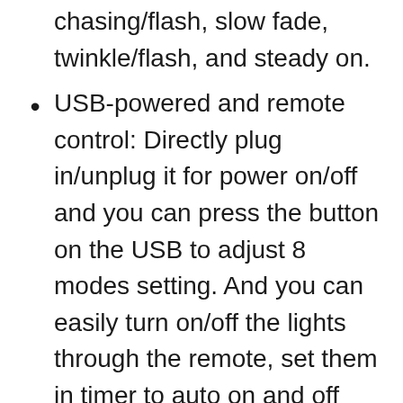chasing/flash, slow fade, twinkle/flash, and steady on.
USB-powered and remote control: Directly plug in/unplug it for power on/off and you can press the button on the USB to adjust 8 modes setting. And you can easily turn on/off the lights through the remote, set them in timer to auto on and off each day, adjust the brightness, adjust 8 modes setting.
Waterproof: The wire parts of the string lights are fully sealed, thus making it submersible, with low